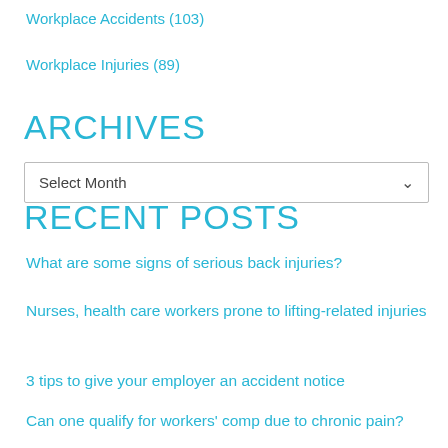Workplace Accidents (103)
Workplace Injuries (89)
ARCHIVES
Select Month
RECENT POSTS
What are some signs of serious back injuries?
Nurses, health care workers prone to lifting-related injuries
3 tips to give your employer an accident notice
Can one qualify for workers' comp due to chronic pain?